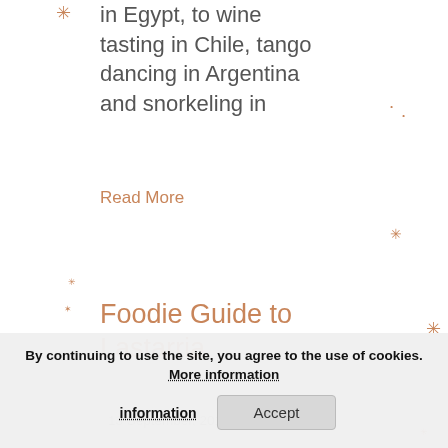in Egypt, to wine tasting in Chile, tango dancing in Argentina and snorkeling in
Read More
Foodie Guide to Lastarria
13 September, 2011 // No
One of my favorite
By continuing to use the site, you agree to the use of cookies. More information
Accept